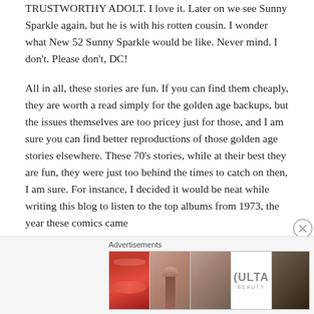TRUSTWORTHY ADOLT. I love it. Later on we see Sunny Sparkle again, but he is with his rotten cousin. I wonder what New 52 Sunny Sparkle would be like. Never mind. I don't. Please don't, DC!
All in all, these stories are fun. If you can find them cheaply, they are worth a read simply for the golden age backups, but the issues themselves are too pricey just for those, and I am sure you can find better reproductions of those golden age stories elsewhere. These 70's stories, while at their best they are fun, they were just too behind the times to catch on then, I am sure. For instance, I decided it would be neat while writing this blog to listen to the top albums from 1973, the year these comics came
Advertisements
[Figure (photo): Ulta Beauty advertisement banner showing close-up images of lips with red lipstick, a makeup brush, an eye with dramatic makeup, the Ulta Beauty logo, another close-up eye, and a 'SHOP NOW' call to action.]